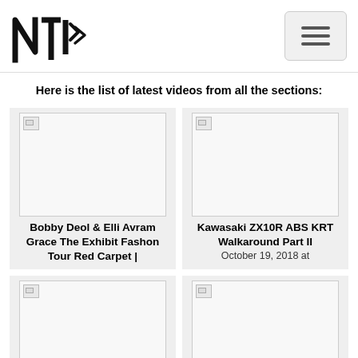NTI logo and navigation
Here is the list of latest videos from all the sections:
[Figure (screenshot): Video thumbnail placeholder (broken image) for Bobby Deol & Elli Avram Grace The Exhibit Fashon Tour Red Carpet]
Bobby Deol & Elli Avram Grace The Exhibit Fashon Tour Red Carpet |
[Figure (screenshot): Video thumbnail placeholder (broken image) for Kawasaki ZX10R ABS KRT Walkaround Part II]
Kawasaki ZX10R ABS KRT Walkaround Part II
October 19, 2018 at
[Figure (screenshot): Video thumbnail placeholder (broken image) for Akki & Bobby Walk for The Exhibit Fashion Tour]
Akki & Bobby Walk for The Exhibit Fashion Tour |
[Figure (screenshot): Video thumbnail placeholder (broken image) for Kawasaki ZX10R ABS KRT Walkaround Part I]
Kawasaki ZX10R ABS KRT Walkaround Part I